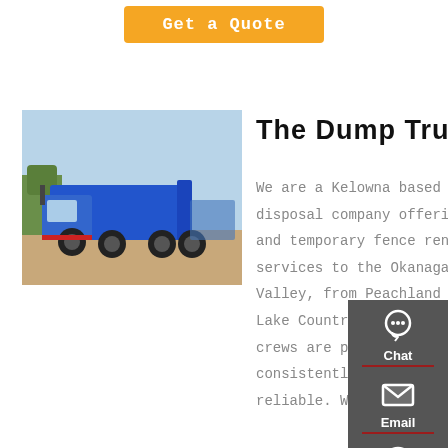Get a Quote
[Figure (photo): Blue dump truck parked on dirt ground with trees/sky in background]
The Dump Truck
We are a Kelowna based disposal company offering bin and temporary fence rental services to the Okanagan Valley, from Peachland to Lake Country. Our friendly crews are proven to be consistently on-time, and reliable. We look